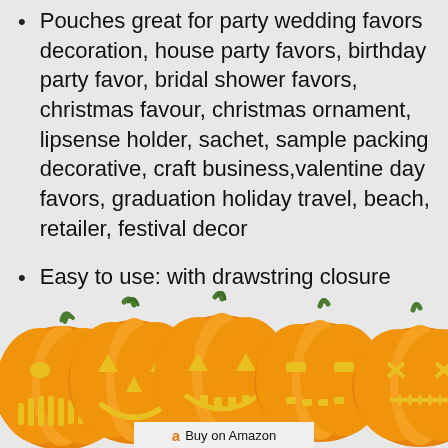Pouches great for party wedding favors decoration, house party favors, birthday party favor, bridal shower favors, christmas favour, christmas ornament, lipsense holder, sachet, sample packing decorative, craft business,valentine day favors, graduation holiday travel, beach, retailer, festival decor
Easy to use: with drawstring closure which is easy to open and close with drawstring
[Figure (illustration): A row of five carved Halloween jack-o'-lantern pumpkins with glowing yellow faces, green stems, at the bottom of the page]
Buy on Amazon